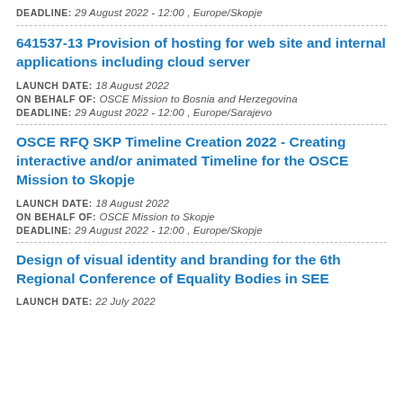DEADLINE: 29 August 2022 - 12:00 , Europe/Skopje
641537-13 Provision of hosting for web site and internal applications including cloud server
LAUNCH DATE: 18 August 2022
ON BEHALF OF: OSCE Mission to Bosnia and Herzegovina
DEADLINE: 29 August 2022 - 12:00 , Europe/Sarajevo
OSCE RFQ SKP Timeline Creation 2022 - Creating interactive and/or animated Timeline for the OSCE Mission to Skopje
LAUNCH DATE: 18 August 2022
ON BEHALF OF: OSCE Mission to Skopje
DEADLINE: 29 August 2022 - 12:00 , Europe/Skopje
Design of visual identity and branding for the 6th Regional Conference of Equality Bodies in SEE
LAUNCH DATE: 22 July 2022